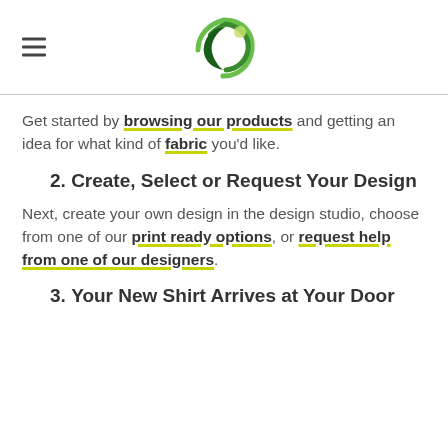[hamburger menu icon] [logo]
Get started by browsing our products and getting an idea for what kind of fabric you'd like.
2. Create, Select or Request Your Design
Next, create your own design in the design studio, choose from one of our print ready options, or request help from one of our designers.
3. Your New Shirt Arrives at Your Door